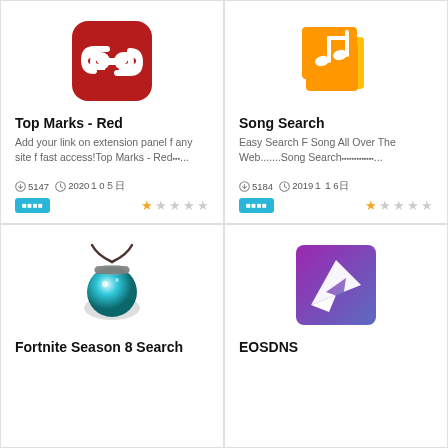[Figure (logo): Top Marks Red logo - red rounded square with white chain link icon]
Top Marks - Red
Add your link on extension panel f any site f fast access!Top Marks - Red■■■...
5147   2020␢1␢10␢5␢
■■■■  ★☆☆☆☆
[Figure (logo): Song Search logo - orange and yellow music note with cards]
Song Search
Easy Search F Song All Over The Web.......Song Search■■■■■■■■■■■■■...
5184   2019␢1␢1␢6␢
■■■■  ★☆☆☆☆
[Figure (logo): Fortnite Season 8 Search logo - glowing blue orb/potion with rope]
Fortnite Season 8 Search
[Figure (logo): EOSDNS logo - purple gradient square with white paper plane icon]
EOSDNS